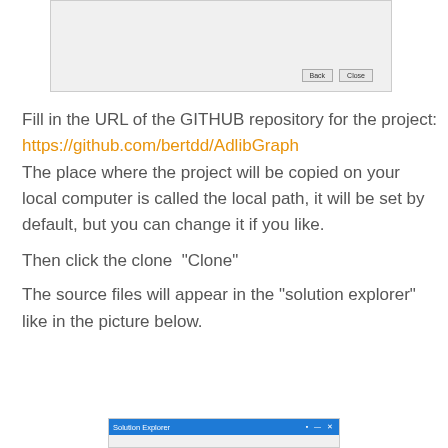[Figure (screenshot): Top portion of a Visual Studio clone dialog with Back and Close buttons]
Fill in the URL of the GITHUB repository for the project:
https://github.com/bertdd/AdlibGraph
The place where the project will be copied on your local computer is called the local path, it will be set by default, but you can change it if you like.
Then click the clone “Clone”
The source files will appear in the “solution explorer” like in the picture below.
[Figure (screenshot): Bottom portion showing Solution Explorer panel header with pin and close icons]